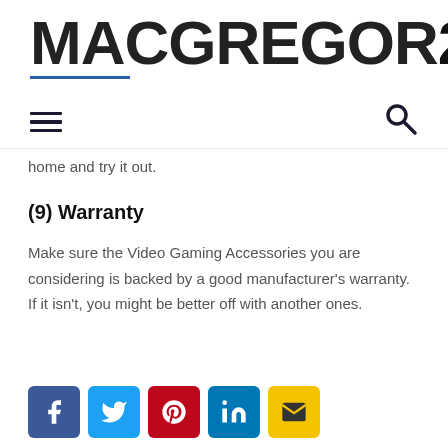MACGREGOR26
home and try it out.
(9) Warranty
Make sure the Video Gaming Accessories you are considering is backed by a good manufacturer's warranty. If it isn't, you might be better off with another ones.